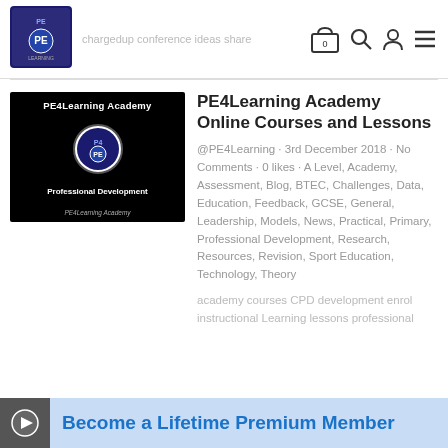[Figure (logo): PE4Learning logo in top left corner]
chargedup conference ideas share
[Figure (illustration): PE4Learning Academy Professional Development thumbnail image with dark background]
PE4Learning Academy Online Courses and Lessons
@PE4Learning · 3rd December 2018 · No Comments · 0 likes · A Level, Academy, Assessment, Blog, BTEC, Challenges, Data, Education, Feedback, GCSE, General, Leadership, Models, News, Practical, Primary, Professional Development, Research, Resources, Revision, Sport Education, Technology, Theory
academy courses CPD development enrol instructional Learning lessons professional
Become a Lifetime Premium Member